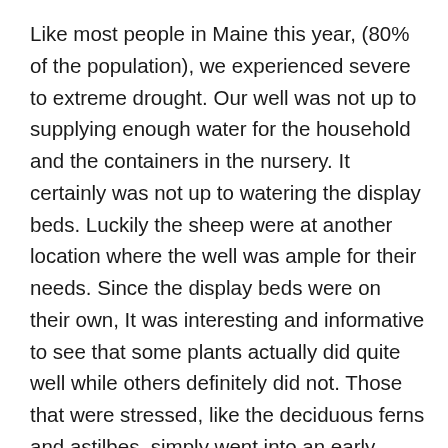Like most people in Maine this year, (80% of the population), we experienced severe to extreme drought. Our well was not up to supplying enough water for the household and the containers in the nursery. It certainly was not up to watering the display beds. Luckily the sheep were at another location where the well was ample for their needs. Since the display beds were on their own, It was interesting and informative to see that some plants actually did quite well while others definitely did not. Those that were stressed, like the deciduous ferns and astilbes, simply went into an early dormant state and started to drop their fronds or shrivel up in an effort to conserve moisture to the crowns and roots for survival. We cut them back, as it was happening, to help them out. Since no appreciable rain came or was in sight in September, we started to cut back more and more of the perennials.